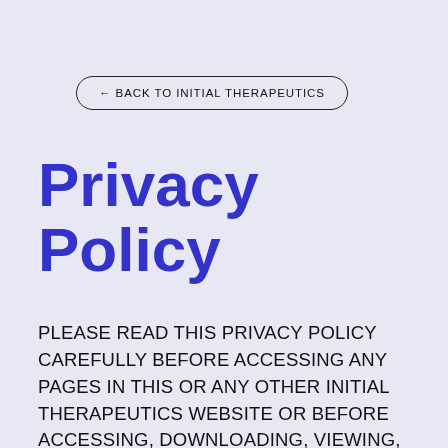← BACK TO INITIAL THERAPEUTICS
Privacy Policy
PLEASE READ THIS PRIVACY POLICY CAREFULLY BEFORE ACCESSING ANY PAGES IN THIS OR ANY OTHER INITIAL THERAPEUTICS WEBSITE OR BEFORE ACCESSING, DOWNLOADING, VIEWING, OR USING, IN ANY MANNER, FROM YOUR SMART PHONE OR